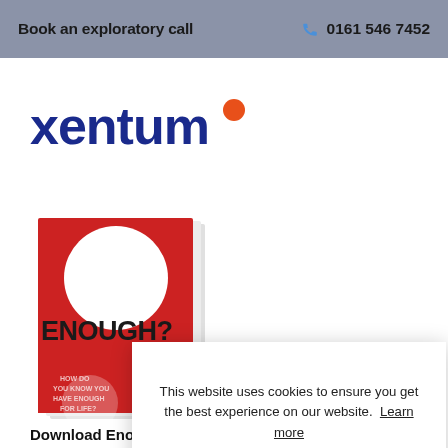Book an exploratory call   0161 546 7452
[Figure (logo): Xentum logo — lowercase 'xentum' in dark blue with an orange dot]
[Figure (photo): Book cover with red background, white circle, text 'ENOUGH?', and partial text about money/life below]
This website uses cookies to ensure you get the best experience on our website. Learn more
Dismiss
Allow cookies
Download Enough? Book